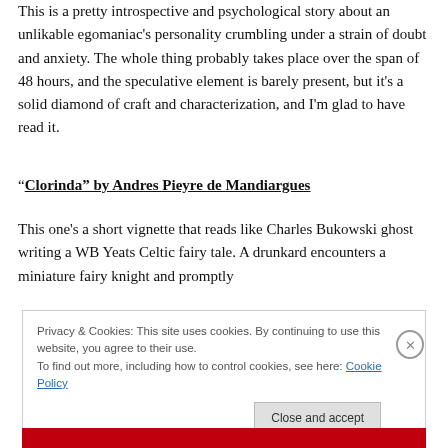This is a pretty introspective and psychological story about an unlikable egomaniac's personality crumbling under a strain of doubt and anxiety. The whole thing probably takes place over the span of 48 hours, and the speculative element is barely present, but it's a solid diamond of craft and characterization, and I'm glad to have read it.
“Clorinda” by Andres Pieyre de Mandiargues
This one's a short vignette that reads like Charles Bukowski ghost writing a WB Yeats Celtic fairy tale. A drunkard encounters a miniature fairy knight and promptly
Privacy & Cookies: This site uses cookies. By continuing to use this website, you agree to their use.
To find out more, including how to control cookies, see here: Cookie Policy